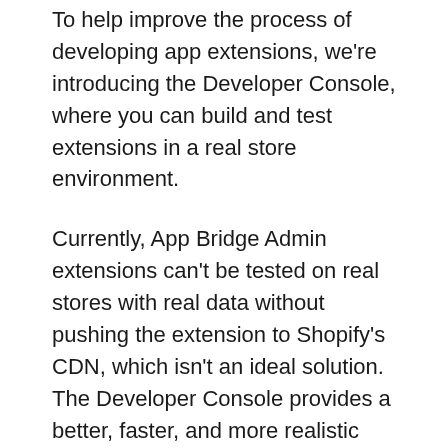To help improve the process of developing app extensions, we're introducing the Developer Console, where you can build and test extensions in a real store environment.
Currently, App Bridge Admin extensions can't be tested on real stores with real data without pushing the extension to Shopify's CDN, which isn't an ideal solution. The Developer Console provides a better, faster, and more realistic developer experience when building and testing App Bridge Admin extensions.
With the Developer Console, any changes you make to your local environment will render